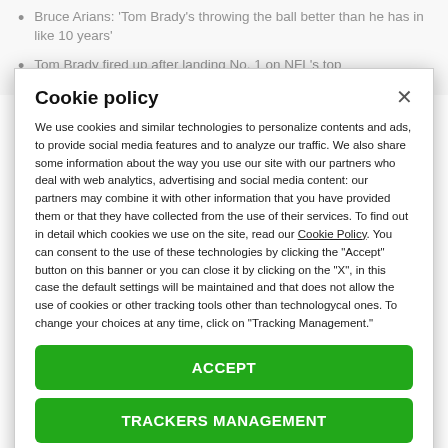Bruce Arians: 'Tom Brady's throwing the ball better than he has in like 10 years'
Tom Brady fired up after landing No. 1 on NFL's top
Cookie policy
We use cookies and similar technologies to personalize contents and ads, to provide social media features and to analyze our traffic. We also share some information about the way you use our site with our partners who deal with web analytics, advertising and social media content: our partners may combine it with other information that you have provided them or that they have collected from the use of their services. To find out in detail which cookies we use on the site, read our Cookie Policy. You can consent to the use of these technologies by clicking the "Accept" button on this banner or you can close it by clicking on the "X", in this case the default settings will be maintained and that does not allow the use of cookies or other tracking tools other than technologycal ones. To change your choices at any time, click on “Tracking Management.”
ACCEPT
TRACKERS MANAGEMENT
Show vendors | Show purposes